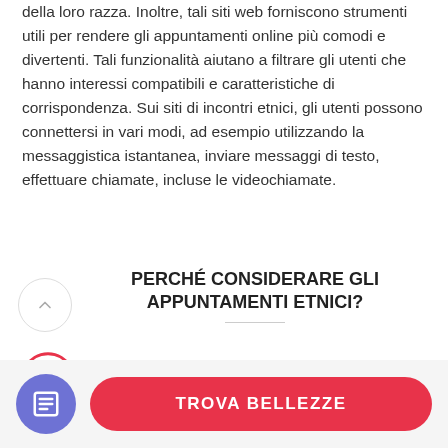della loro razza. Inoltre, tali siti web forniscono strumenti utili per rendere gli appuntamenti online più comodi e divertenti. Tali funzionalità aiutano a filtrare gli utenti che hanno interessi compatibili e caratteristiche di corrispondenza. Sui siti di incontri etnici, gli utenti possono connettersi in vari modi, ad esempio utilizzando la messaggistica istantanea, inviare messaggi di testo, effettuare chiamate, incluse le videochiamate.
PERCHÉ CONSIDERARE GLI APPUNTAMENTI ETNICI?
È sempre una buona idea uscire con qualcuno con cui condividi gli stessi valori o prospettive. Se stai
[Figure (infographic): Circle with up arrow icon and curved arc with 20% label in red]
TROVA BELLEZZE